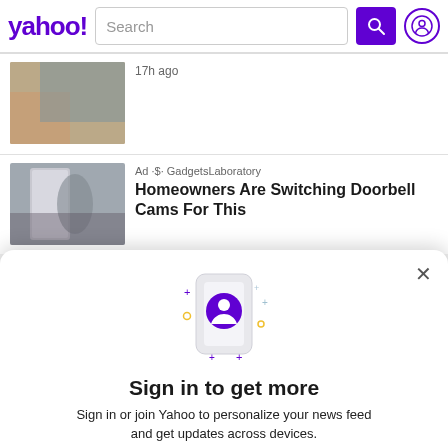yahoo! Search
17h ago
Ad GadgetsLaboratory
Homeowners Are Switching Doorbell Cams For This
[Figure (illustration): Phone with user profile icon and sparkle decorations, sign-in modal illustration]
Sign in to get more
Sign in or join Yahoo to personalize your news feed and get updates across devices.
Sign in
Sign up